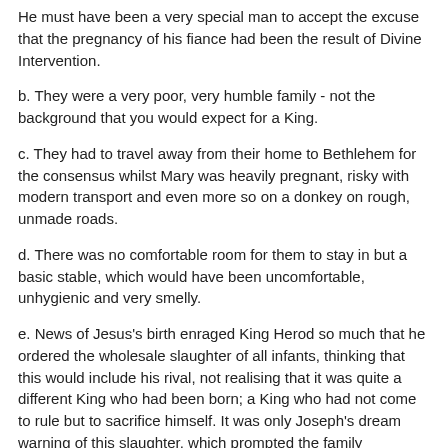He must have been a very special man to accept the excuse that the pregnancy of his fiance had been the result of Divine Intervention.
b. They were a very poor, very humble family - not the background that you would expect for a King.
c. They had to travel away from their home to Bethlehem for the consensus whilst Mary was heavily pregnant, risky with modern transport and even more so on a donkey on rough, unmade roads.
d. There was no comfortable room for them to stay in but a basic stable, which would have been uncomfortable, unhygienic and very smelly.
e. News of Jesus's birth enraged King Herod so much that he ordered the wholesale slaughter of all infants, thinking that this would include his rival, not realising that it was quite a different King who had been born; a King who had not come to rule but to sacrifice himself. It was only Joseph's dream warning of this slaughter, which prompted the family